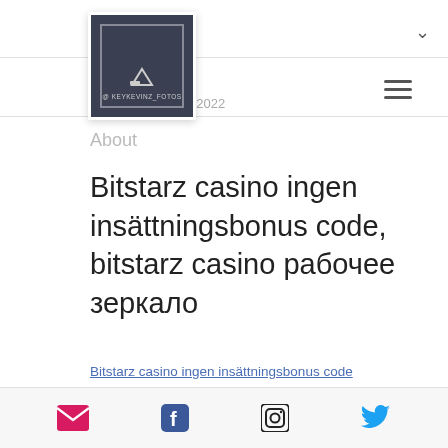[Figure (photo): Dark square profile picture with mountain/landscape icon and text '@KEYKEVINZ_FOTOS' at the bottom, white border inside]
Pr...
Join date: Jun 25, 2022
About
Bitstarz casino ingen insättningsbonus code, bitstarz casino рабочее зеркало
Bitstarz casino ingen insättningsbonus code
[Figure (other): Footer bar with social media icons: email (pink), Facebook (blue), Instagram (black), Twitter (blue)]